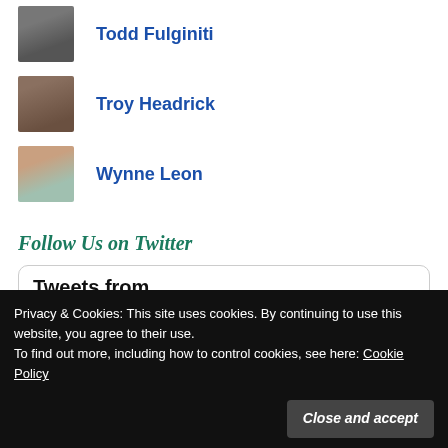Todd Fulginiti
Troy Headrick
Wynne Leon
Follow Us on Twitter
[Figure (screenshot): Twitter embedded widget showing 'Tweets from' header]
Privacy & Cookies: This site uses cookies. By continuing to use this website, you agree to their use. To find out more, including how to control cookies, see here: Cookie Policy
Close and accept